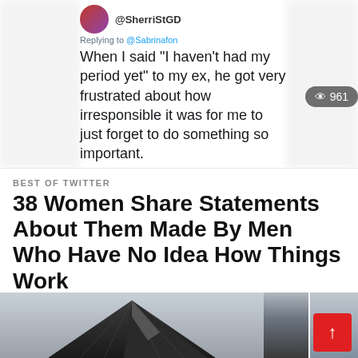[Figure (screenshot): Screenshot of a tweet from @SherriStGD replying to @Sabrinafon reading: 'When I said "I haven't had my period yet" to my ex, he got very frustrated about how irresponsible it was for me to just forget to do something so important.' Posted 6:14 PM · 06 May 22 · Twitter for Android. Stats: 46 Retweets, 6 Quote Tweets, 851 Likes, 961 views.]
BEST OF TWITTER
38 Women Share Statements About Them Made By Men Who Have No Idea How Things Work
MORE FROM: INTERESTING
[Figure (photo): Image of a dark geometric modern house roof against a light sky background]